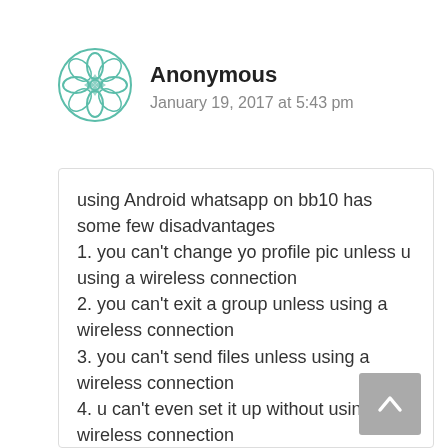[Figure (illustration): Teal/green decorative mandala-style avatar icon]
Anonymous
January 19, 2017 at 5:43 pm
using Android whatsapp on bb10 has some few disadvantages
1. you can't change yo profile pic unless u using a wireless connection
2. you can't exit a group unless using a wireless connection
3. you can't send files unless using a wireless connection
4. u can't even set it up without using a wireless connection
basically u can't do anything on it with